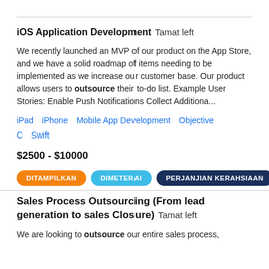iOS Application Development  Tamat left
We recently launched an MVP of our product on the App Store, and we have a solid roadmap of items needing to be implemented as we increase our customer base. Our product allows users to outsource their to-do list. Example User Stories: Enable Push Notifications Collect Additiona...
iPad   iPhone   Mobile App Development   Objective C   Swift
$2500 - $10000
DITAMPILKAN   DIMETERAI   PERJANJIAN KERAHSIAAN
Sales Process Outsourcing (From lead generation to sales Closure)  Tamat left
We are looking to outsource our entire sales process,